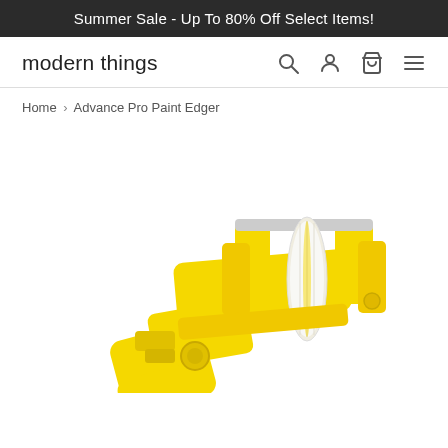Summer Sale - Up To 80% Off Select Items!
modern things
Home › Advance Pro Paint Edger
[Figure (photo): Yellow Advance Pro Paint Edger tool with a white roller, shown on a white background. The device has a bright yellow plastic body and handle with a cylindrical white foam/fabric roller mounted at the top.]